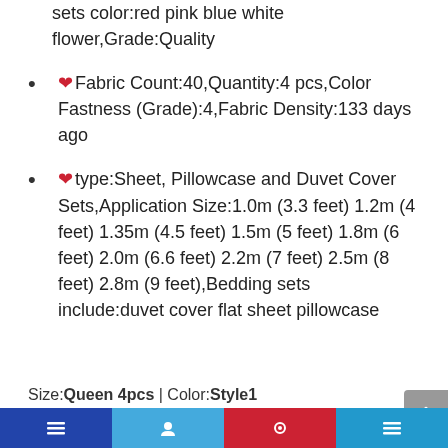sets color:red pink blue white flower,Grade:Quality
❤Fabric Count:40,Quantity:4 pcs,Color Fastness (Grade):4,Fabric Density:133 days ago
❤type:Sheet, Pillowcase and Duvet Cover Sets,Application Size:1.0m (3.3 feet) 1.2m (4 feet) 1.35m (4.5 feet) 1.5m (5 feet) 1.8m (6 feet) 2.0m (6.6 feet) 2.2m (7 feet) 2.5m (8 feet) 2.8m (9 feet),Bedding sets include:duvet cover flat sheet pillowcase
Size:Queen 4pcs | Color:Style1
Footer navigation bar